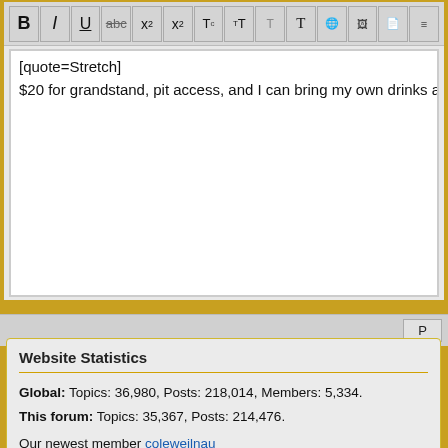[Figure (screenshot): Forum text editor toolbar with formatting buttons: B (bold), I (italic), U (underline), strikethrough, subscript, superscript, and other formatting/insert icons]
[quote=Stretch]
$20 for grandstand, pit access, and I can bring my own drinks and food?
Website Statistics
Global: Topics: 36,980, Posts: 218,014, Members: 5,334.
This forum: Topics: 35,367, Posts: 214,476.
Our newest member coleweilnau